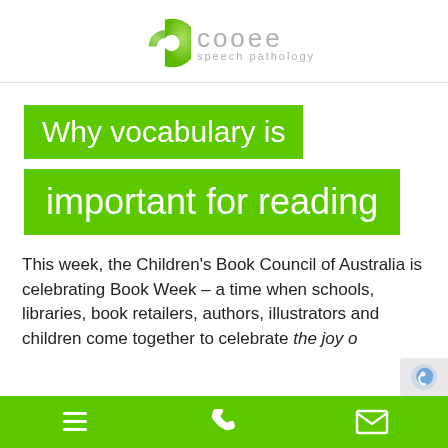[Figure (logo): Cooee Speech Pathology logo with green circular arrow shape and grey text]
Why vocabulary is important for reading
This week, the Children's Book Council of Australia is celebrating Book Week – a time when schools, libraries, book retailers, authors, illustrators and children come together to celebrate the joy o
Navigation bar with menu, phone, and email icons